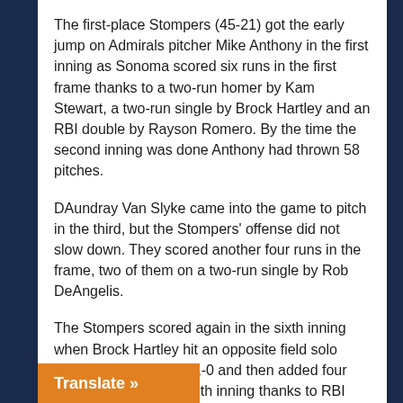The first-place Stompers (45-21) got the early jump on Admirals pitcher Mike Anthony in the first inning as Sonoma scored six runs in the first frame thanks to a two-run homer by Kam Stewart, a two-run single by Brock Hartley and an RBI double by Rayson Romero. By the time the second inning was done Anthony had thrown 58 pitches.
DAundray Van Slyke came into the game to pitch in the third, but the Stompers' offense did not slow down. They scored another four runs in the frame, two of them on a two-run single by Rob DeAngelis.
The Stompers scored again in the sixth inning when Brock Hartley hit an opposite field solo home run to make it 11-0 and then added four more runs in the seventh inning thanks to RBI singles from Harley and DeAngelis to make it 15-0.
By the time the eighth inning ended the Admirals saw themselves in a hole bigger than the Bingham County Mine as the Stompers had erupted for 18 runs.
Translate »